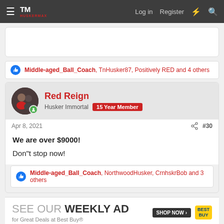HuskerMax — Log in  Register
Middle-aged_Ball_Coach, TnHusker87, Positively RED and 4 others
Red Reign
Husker Immortal  15 Year Member
Apr 8, 2021   #30
We are over $9000!
Don"t stop now!
Middle-aged_Ball_Coach, NorthwoodHusker, CrnhskrBob and 3 others
[Figure (advertisement): Best Buy SEE OUR WEEKLY AD for Great Deals at Best Buy® SHOP NOW banner]